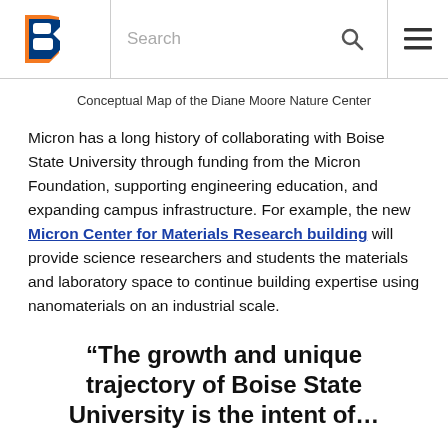Boise State University — Search
Conceptual Map of the Diane Moore Nature Center
Micron has a long history of collaborating with Boise State University through funding from the Micron Foundation, supporting engineering education, and expanding campus infrastructure. For example, the new Micron Center for Materials Research building will provide science researchers and students the materials and laboratory space to continue building expertise using nanomaterials on an industrial scale.
“The growth and unique trajectory of Boise State University is the intent of…